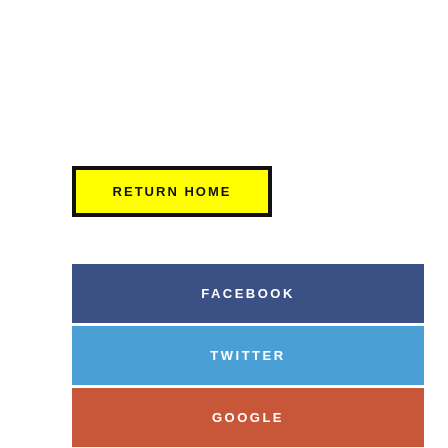RETURN HOME
FACEBOOK
TWITTER
GOOGLE
PINTEREST